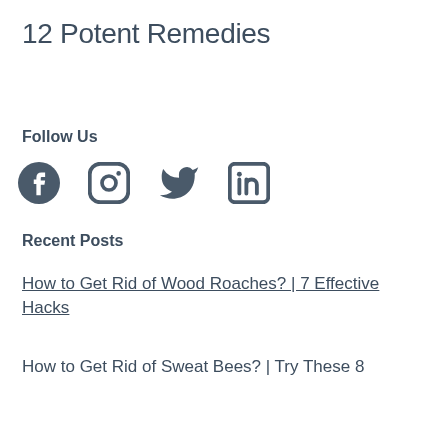12 Potent Remedies
Follow Us
[Figure (illustration): Social media icons: Facebook, Instagram, Twitter, LinkedIn]
Recent Posts
How to Get Rid of Wood Roaches? | 7 Effective Hacks
How to Get Rid of Sweat Bees? | Try These 8